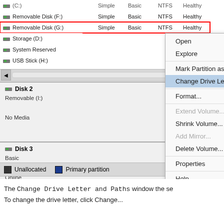[Figure (screenshot): Windows Disk Management context menu showing 'Change Drive Letter and Paths...' highlighted in blue, with a red arrow pointing to it. Left panel shows disk list including Removable Disk (G:) highlighted in red, Storage (D:), System Reserved, USB Stick (H:), Disk 2 (Removable, No Media), Disk 3 (Basic, 698.64 GB, Online). Legend shows Unallocated and Primary partition.]
The Change Drive Letter and Paths window the se
To change the drive letter, click Change...